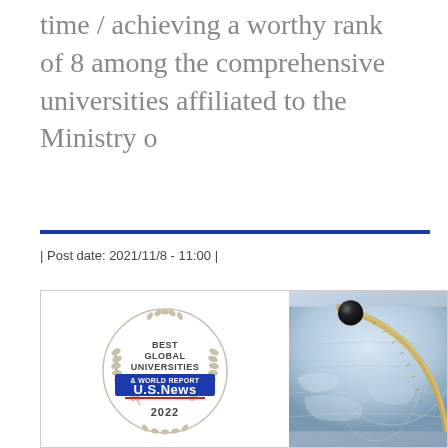time / achieving a worthy rank of 8 among the comprehensive universities affiliated to the Ministry o
| Post date: 2021/11/8 - 11:00 |
[Figure (photo): Left panel: U.S. News & World Report Best Global Universities 2022 badge logo with laurel wreath, and a university emblem below. Right panel: Close-up photo of a globe with a pin/marker on it.]